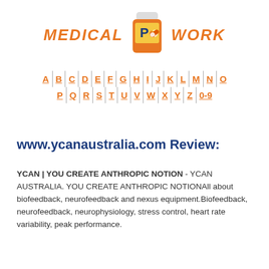[Figure (logo): Medical Pill Work logo with orange pill bottle icon and orange italic text 'MEDICAL' on the left and 'WORK' on the right]
[Figure (other): Alphabet navigation: A B C D E F G H I J K L M N O on first row, P Q R S T U V W X Y Z 0-9 on second row, each letter underlined and orange, separated by vertical bars]
www.ycanaustralia.com Review:
YCAN | YOU CREATE ANTHROPIC NOTION - YCAN AUSTRALIA. YOU CREATE ANTHROPIC NOTIONAll about biofeedback, neurofeedback and nexus equipment.Biofeedback, neurofeedback, neurophysiology, stress control, heart rate variability, peak performance.